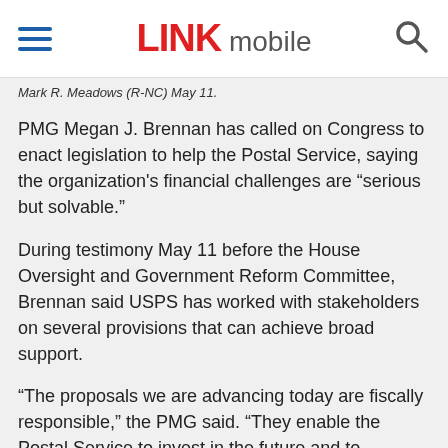LINK mobile
Mark R. Meadows (R-NC) May 11.
PMG Megan J. Brennan has called on Congress to enact legislation to help the Postal Service, saying the organization's financial challenges are “serious but solvable.”
During testimony May 11 before the House Oversight and Government Reform Committee, Brennan said USPS has worked with stakeholders on several provisions that can achieve broad support.
“The proposals we are advancing today are fiscally responsible,” the PMG said. “They enable the Postal Service to invest in the future and to continue to provide affordable, reliable and secure delivery service.”
The proposals include requiring Medicare integration for postal retiree health plans.
“As the second largest contributor to Medicare, our proposal